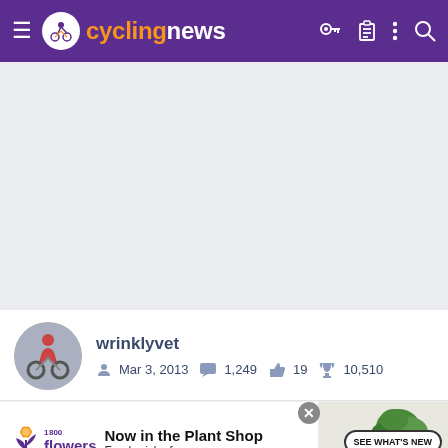cyclingnews
[Figure (screenshot): Gray empty content area placeholder]
wrinklyvet  Mar 3, 2013  1,249  19  10,510
[Figure (other): 1-800-flowers.com advertisement: Now in the Plant Shop. Fresh picks for summer. SEE WHAT'S NEW button with plant image.]